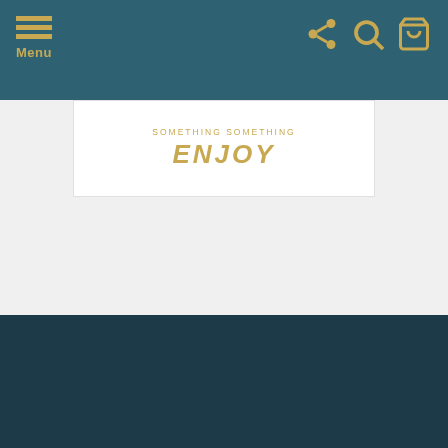Menu
[Figure (screenshot): Partial view of a podcast branding card with golden italic text 'ENJOY' and small subtitle text above it]
ABOUT
The Not Old – Better Show is a podcast focused on the hottest issues and topics that fascinate those 50+ age individuals and their families.
SOCIAL
Share This